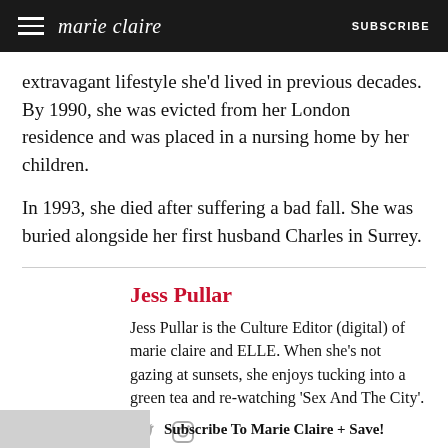marie claire | SUBSCRIBE
extravagant lifestyle she'd lived in previous decades. By 1990, she was evicted from her London residence and was placed in a nursing home by her children.

In 1993, she died after suffering a bad fall. She was buried alongside her first husband Charles in Surrey.
Jess Pullar
Jess Pullar is the Culture Editor (digital) of marie claire and ELLE. When she's not gazing at sunsets, she enjoys tucking into a green tea and re-watching 'Sex And The City'.
Subscribe To Marie Claire + Save!